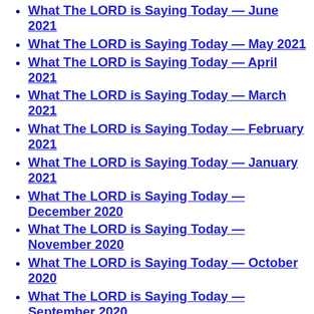What The LORD is Saying Today — June 2021
What The LORD is Saying Today — May 2021
What The LORD is Saying Today — April 2021
What The LORD is Saying Today — March 2021
What The LORD is Saying Today — February 2021
What The LORD is Saying Today — January 2021
What The LORD is Saying Today — December 2020
What The LORD is Saying Today — November 2020
What The LORD is Saying Today — October 2020
What The LORD is Saying Today — September 2020
What The LORD is Saying Today — August 2020
What The LORD is Saying Today — July 2020
What The LORD is Saying Today — June 2020
What The LORD is Saying Today — May 2020
What The LORD is Saying Today — April 2020
What The LORD is Saying Today — March 2020
What The LORD is Saying Today — February 2020
What the LORD is Saying Today — January 2020
What the LORD is Saying Today — November 2019